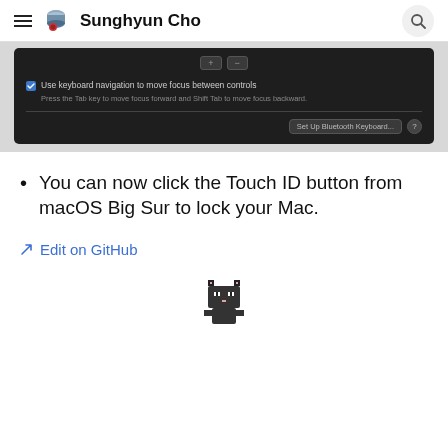Sunghyun Cho
[Figure (screenshot): macOS Keyboard System Preferences panel (dark mode) showing a checkbox 'Use keyboard navigation to move focus between controls' with helper text 'Press the Tab key to move focus forward and Shift Tab to move focus backward.' and a 'Set Up Bluetooth Keyboard...' button.]
You can now click the Touch ID button from macOS Big Sur to lock your Mac.
Edit on GitHub
[Figure (illustration): Pixel art character (cat-like figure) at bottom center of page.]